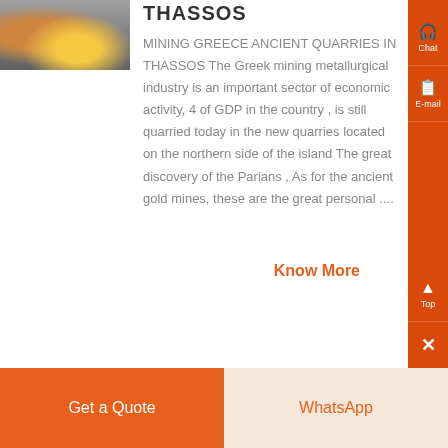[Figure (photo): Mining/quarry scene with gold-colored material and industrial equipment]
THASSOS
MINING GREECE ANCIENT QUARRIES IN THASSOS The Greek mining metallurgical industry is an important sector of economic activity, 4 of GDP in the country , is still quarried today in the new quarries located on the northern side of the island The great discovery of the Parians , As for the ancient gold mines, these are the great personal ....
Know More